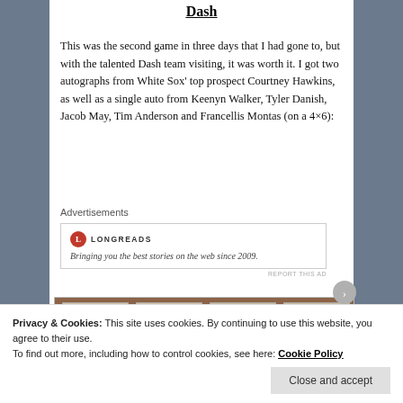Dash
This was the second game in three days that I had gone to, but with the talented Dash team visiting, it was worth it. I got two autographs from White Sox' top prospect Courtney Hawkins, as well as a single auto from Keenyn Walker, Tyler Danish, Jacob May, Tim Anderson and Francellis Montas (on a 4×6):
Advertisements
[Figure (screenshot): Longreads advertisement box with logo and tagline: Bringing you the best stories on the web since 2009.]
[Figure (photo): Partial photo strip showing framed autograph cards on a wooden surface.]
Privacy & Cookies: This site uses cookies. By continuing to use this website, you agree to their use.
To find out more, including how to control cookies, see here: Cookie Policy